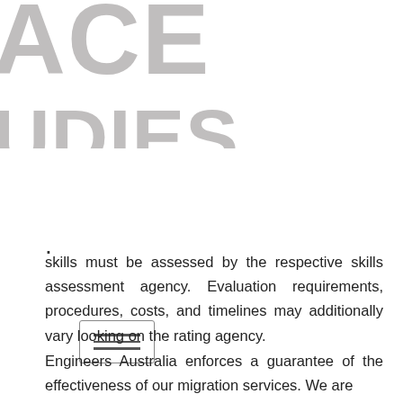[Figure (logo): Partial logo text showing 'ACE' on first line and 'UDIES' on second line in large gray letters]
[Figure (other): Hamburger menu button with three horizontal lines inside a rounded rectangle border]
.
skills must be assessed by the respective skills assessment agency. Evaluation requirements, procedures, costs, and timelines may additionally vary looking on the rating agency.
Engineers Australia enforces a guarantee of the effectiveness of our migration services. We are